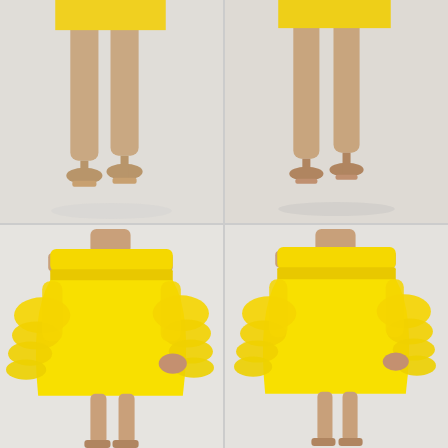[Figure (photo): Four-photo grid showing a model wearing a bright yellow off-shoulder ruffle-sleeve mini dress with bell sleeves. Top row shows close-up back views of the model's legs and heels (clear block heels). Bottom row shows front/three-quarter views of the full yellow dress with off-shoulder neckline and tiered ruffle bell sleeves.]